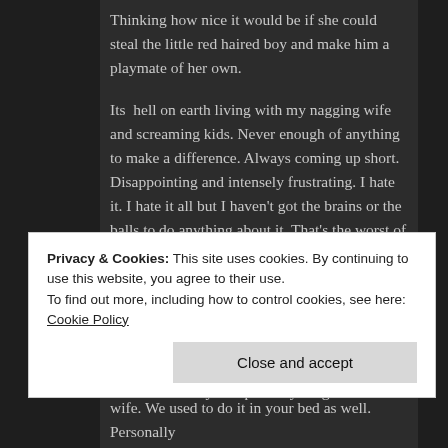Thinking how nice it would be if she could steal the little red haired boy and make him a playmate of her own.
Its  hell on earth living with my nagging wife and screaming kids. Never enough of anything to make a difference. Always coming up short. Disappointing and intensely frustrating. I hate it. I hate it all but I haven't got the brains or the balls to do anything about it. That's the worst of it. I can't do a damn thing about it.
I hate her she's a nasty mouthed cow. I hope her oh so sexy boyfriend dumps her. . I hope she  cries till her eyes drop out. I hope her fat backside swells up and swallows her skinny little bikini body. I hope everything
Privacy & Cookies: This site uses cookies. By continuing to use this website, you agree to their use.
To find out more, including how to control cookies, see here: Cookie Policy
wife. We used to do it in your bed as well. Personally